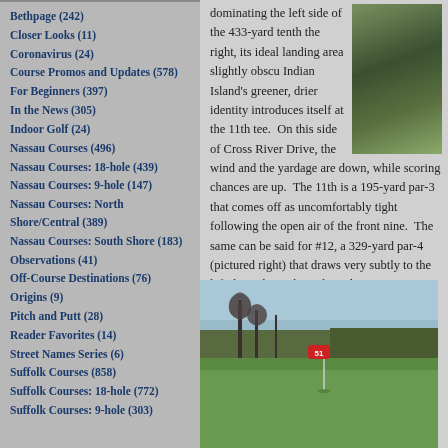Bethpage (242)
Closer Looks (11)
Coronavirus (24)
Course Promos and Updates (578)
For Beginners (397)
In the News (305)
Indoor Golf (24)
Nassau Courses (496)
Nassau Courses: 18-hole (439)
Nassau Courses: 9-hole (147)
Nassau Courses: North Shore/Central (389)
Nassau Courses: South Shore (183)
Observations (41)
Off-Course Destinations (76)
Origins (9)
Pitch and Putt (28)
Reader Favorites (14)
Street Names Series (6)
Suffolk Courses (858)
Suffolk Courses: 18-hole (772)
Suffolk Courses: 9-hole (303)
dominating the left side of the 433-yard tenth the right, its ideal landing area slightly obscu Indian Island's greener, drier identity introduces itself at the 11th tee. On this side of Cross River Drive, the wind and the yardage are down, while scoring chances are up. The 11th is a 195-yard par-3 that comes off as uncomfortably tight following the open air of the front nine. The same can be said for #12, a 329-yard par-4 (pictured right) that draws very subtly to the left through another relatively narrow corridor, though recent tree needed breathing room.
[Figure (photo): Golf course hole with green fairway, bare trees, a flagstick with red flag, and wooded hills in the background.]